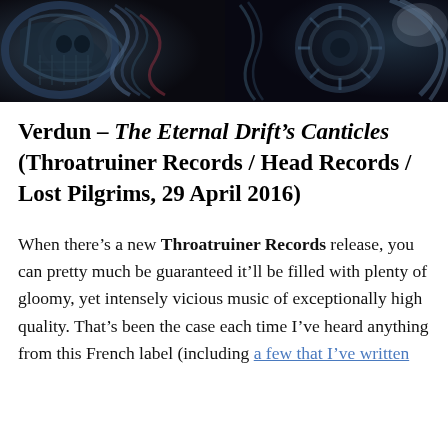[Figure (illustration): Abstract dark artwork showing swirling mechanical and organic forms in dark blues, greens, blacks and whites — album cover art for Verdun's The Eternal Drift's Canticles]
Verdun – The Eternal Drift's Canticles (Throatruiner Records / Head Records / Lost Pilgrims, 29 April 2016)
When there's a new Throatruiner Records release, you can pretty much be guaranteed it'll be filled with plenty of gloomy, yet intensely vicious music of exceptionally high quality. That's been the case each time I've heard anything from this French label (including a few that I've written